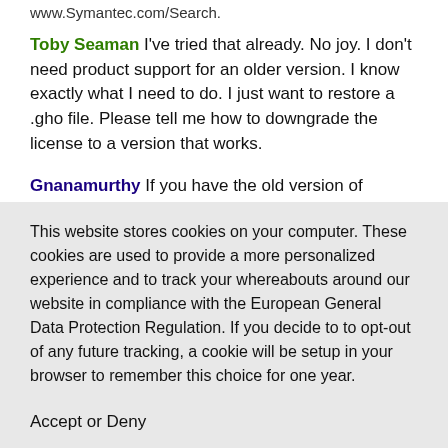www.Symantec.com/Search.
Toby Seaman I've tried that already. No joy. I don't need product support for an older version. I know exactly what I need to do. I just want to restore a .gho file. Please tell me how to downgrade the license to a version that works.
Gnanamurthy If you have the old version of Norton...
This website stores cookies on your computer. These cookies are used to provide a more personalized experience and to track your whereabouts around our website in compliance with the European General Data Protection Regulation. If you decide to to opt-out of any future tracking, a cookie will be setup in your browser to remember this choice for one year.
Accept or Deny